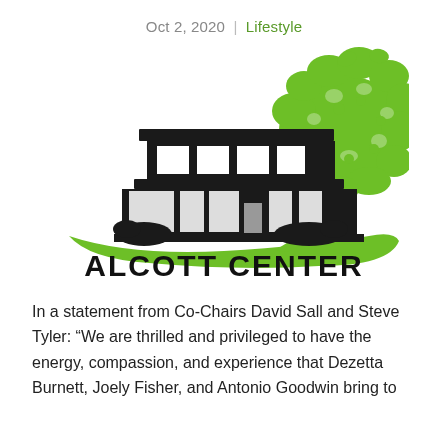Oct 2, 2020 | Lifestyle
[Figure (logo): Alcott Center logo: a modern building silhouette in black with a large green tree growing beside it, and the text 'ALCOTT CENTER' in bold black letters beneath a green swooping ground line.]
In a statement from Co-Chairs David Sall and Steve Tyler: “We are thrilled and privileged to have the energy, compassion, and experience that Dezetta Burnett, Joely Fisher, and Antonio Goodwin bring to